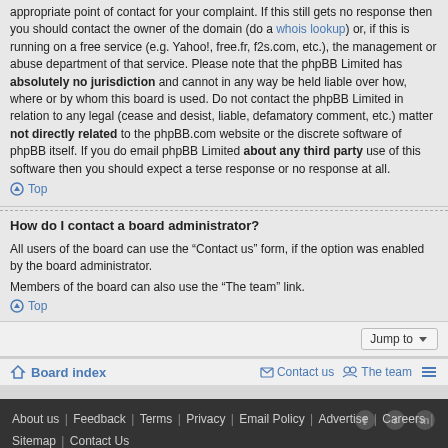appropriate point of contact for your complaint. If this still gets no response then you should contact the owner of the domain (do a whois lookup) or, if this is running on a free service (e.g. Yahoo!, free.fr, f2s.com, etc.), the management or abuse department of that service. Please note that the phpBB Limited has absolutely no jurisdiction and cannot in any way be held liable over how, where or by whom this board is used. Do not contact the phpBB Limited in relation to any legal (cease and desist, liable, defamatory comment, etc.) matter not directly related to the phpBB.com website or the discrete software of phpBB itself. If you do email phpBB Limited about any third party use of this software then you should expect a terse response or no response at all.
Top
How do I contact a board administrator?
All users of the board can use the “Contact us” form, if the option was enabled by the board administrator.
Members of the board can also use the “The team” link.
Top
Jump to
Board index   Contact us   The team
About us | Feedback | Terms | Privacy | Email Policy | Advertise | Careers | Sitemap | Contact Us
© Sunrise Consultancy Services